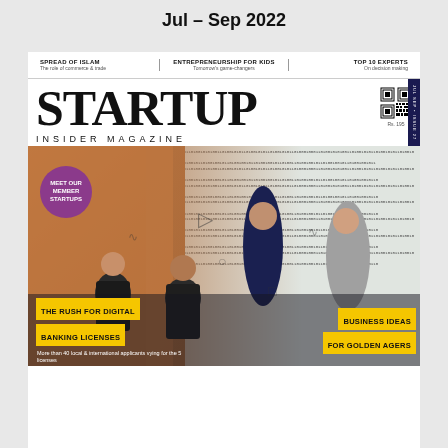Jul - Sep 2022
SPREAD OF ISLAM | The role of commerce & trade | ENTREPRENEURSHIP FOR KIDS | Tomorrow's game-changers | TOP 10 EXPERTS | On decision making
STARTUP
INSIDER MAGAZINE
Rs. 195
JUL SEP • ISSUE 27
[Figure (photo): Four young professionals (two men seated, one man standing, one woman) in front of a binary code / digital symbols background wall. A purple circular badge reads MEET OUR MEMBER STARTUPS.]
MEET OUR MEMBER STARTUPS
THE RUSH FOR DIGITAL BANKING LICENSES
More than 40 local & international applicants vying for the 5 licenses
BUSINESS IDEAS FOR GOLDEN AGERS